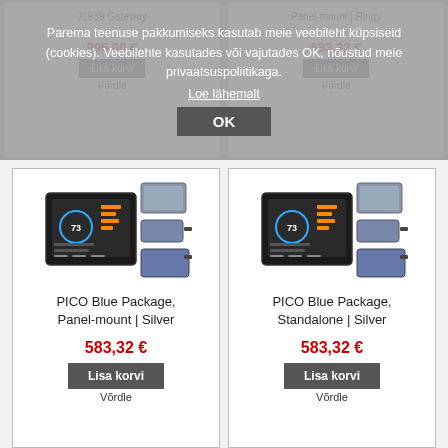J1939 Gateway
Panel-mount | Ringy
995,00 €
583,32 €
Lisa korvi
Lisa korvi
Võrdle
Võrdle
Parema teenuse pakkumiseks kasutab meie veebileht küpsiseid (cookies). Veebilehte kasutades või vajutades OK, nõustud meie privaatsuspoliitikaga.
Loe lähemalt
OK
[Figure (photo): PICO Blue Package Panel-mount Silver product photo showing display unit and modules]
PICO Blue Package, Panel-mount | Silver
583,32 €
Lisa korvi
Võrdle
[Figure (photo): PICO Blue Package Standalone Silver product photo showing display unit and modules]
PICO Blue Package, Standalone | Silver
583,32 €
Lisa korvi
Võrdle